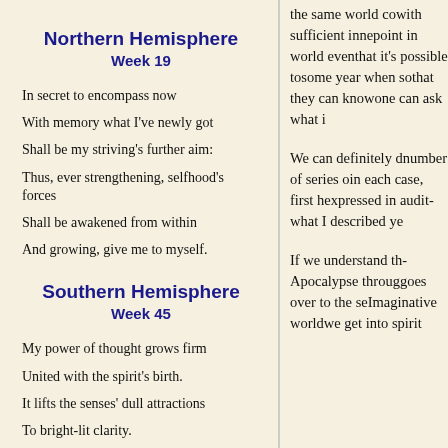Northern Hemisphere
Week 19
In secret to encompass now
With memory what I've newly got
Shall be my striving's further aim:
Thus, ever strengthening, selfhood's forces
Shall be awakened from within
And growing, give me to myself.
Southern Hemisphere
Week 45
My power of thought grows firm
United with the spirit's birth.
It lifts the senses' dull attractions
To bright-lit clarity.
the same world co... with sufficient inne... point in world even... that it's possible to... some year when so... that they can know... one can ask what i...
We can definitely d... number of series o... in each case, first h... expressed in audit... what I described ye...
If we understand th... Apocalypse throug... goes over to the se... Imaginative world... we get into spirit...